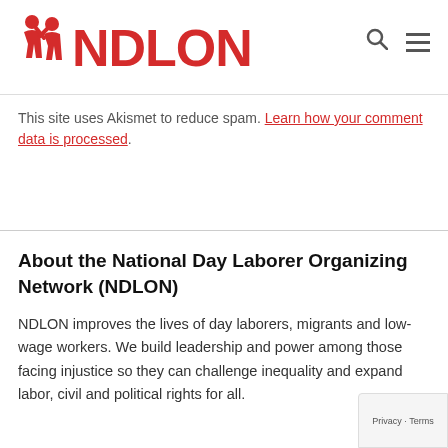NDLON
This site uses Akismet to reduce spam. Learn how your comment data is processed.
About the National Day Laborer Organizing Network (NDLON)
NDLON improves the lives of day laborers, migrants and low-wage workers. We build leadership and power among those facing injustice so they can challenge inequality and expand labor, civil and political rights for all.